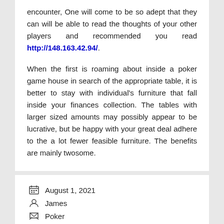encounter, One will come to be so adept that they can will be able to read the thoughts of your other players and recommended you read http://148.163.42.94/.
When the first is roaming about inside a poker game house in search of the appropriate table, it is better to stay with individual's furniture that fall inside your finances collection. The tables with larger sized amounts may possibly appear to be lucrative, but be happy with your great deal adhere to the a lot fewer feasible furniture. The benefits are mainly twosome.
August 1, 2021
James
Poker